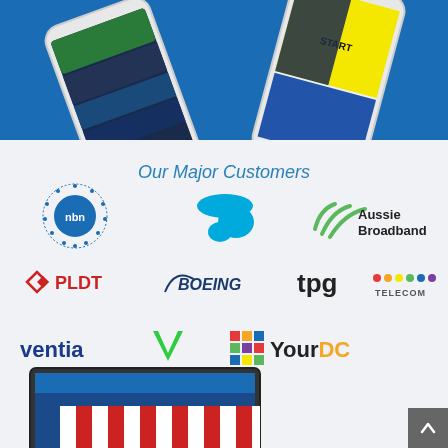[Figure (illustration): Two smartphones displayed at an angle against a blue background — one showing a dark app interface, one showing a yellow/black interface]
Our Major Customers
[Figure (logo): NBN logo — circular dotted pattern with 'nbn' text]
[Figure (logo): Telstra logo — blue stylised T shape]
[Figure (logo): Aussie Broadband logo — green curved lines with text]
[Figure (logo): PLDT logo — red diamond icon with PLDT text]
[Figure (logo): Boeing logo — blue italic Boeing text with swoosh]
[Figure (logo): TPG Telecom logo — tpg text with coloured dots and TELECOM]
[Figure (logo): Ventia logo — dark blue ventia text with green V chevron]
[Figure (logo): YourDC logo — coloured grid icon with YourDC text]
[Figure (screenshot): Bottom partial screenshot of laptop with red-and-white striped awning/market stall image]